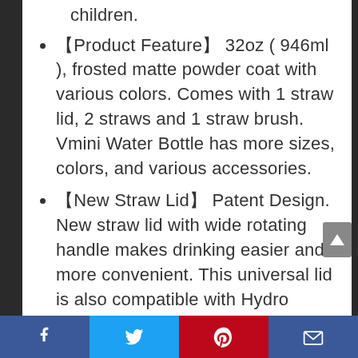children.
【Product Feature】 32oz ( 946ml ), frosted matte powder coat with various colors. Comes with 1 straw lid, 2 straws and 1 straw brush. Vmini Water Bottle has more sizes, colors, and various accessories.
【New Straw Lid】 Patent Design. New straw lid with wide rotating handle makes drinking easier and more convenient. This universal lid is also compatible with Hydro Flask, Simple Modern, Takeya, HYDRO CELL and more.